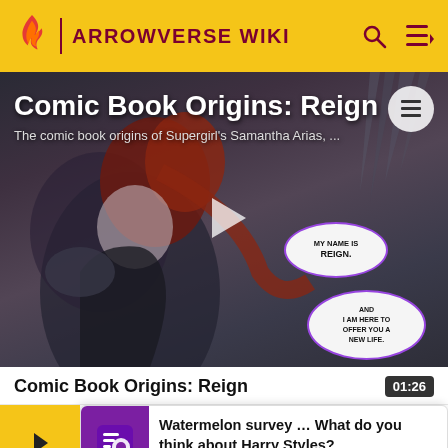ARROWVERSE WIKI
[Figure (screenshot): Video thumbnail showing comic book art of Reign character with red hair, overlaid with title text 'Comic Book Origins: Reign' and subtitle 'The comic book origins of Supergirl's Samantha Arias, ...' with a play button in the center and speech bubbles reading 'MY NAME IS REIGN' and 'AND I AM HERE TO OFFER YOU A NEW LIFE']
Comic Book Origins: Reign
01:26
Patricia
Watermelon survey … What do you think about Harry Styles?
TAKE THE SURVEY HERE
Shoc
and s